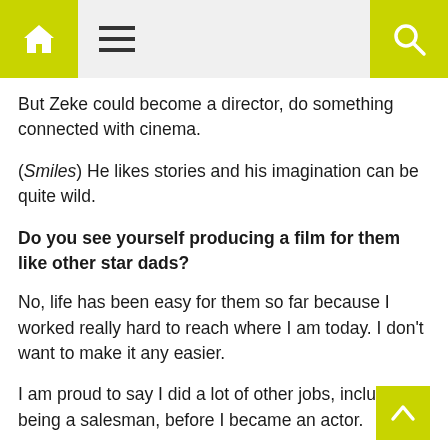[Home icon] [Menu icon] [Search icon]
But Zeke could become a director, do something connected with cinema.
(Smiles) He likes stories and his imagination can be quite wild.
Do you see yourself producing a film for them like other star dads?
No, life has been easy for them so far because I worked really hard to reach where I am today. I don't want to make it any easier.
I am proud to say I did a lot of other jobs, including being a salesman, before I became an actor.
I feel sad for my kids who have nothing like this to narrate.
I have already taken away that lovely feeling from them.
I don't want to take anything more away.